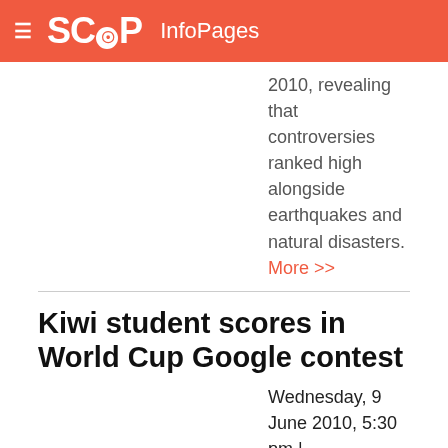SCOOP InfoPages
2010, revealing that controversies ranked high alongside earthquakes and natural disasters. More >>
Kiwi student scores in World Cup Google contest
Wednesday, 9 June 2010, 5:30 pm | Google
Auckland, 9 June 2010 A New Zealand student will this month go up against the world's best in Google's first-ever global Doodle 4 Google competition. More >>
Announcing Google TV: TV meets web